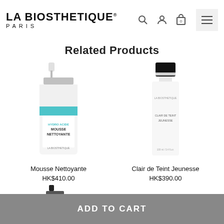[Figure (logo): La Biosthetique Paris logo with navigation icons (search, account, cart, menu)]
Related Products
[Figure (photo): La Biosthetique Mousse Nettoyante product bottle - white foam pump bottle with teal label]
Mousse Nettoyante
HK$410.00
[Figure (photo): La Biosthetique Clair de Teint Jeunesse product bottle - tall white bottle with silver/black cap]
Clair de Teint Jeunesse
HK$390.00
[Figure (photo): Third La Biosthetique product bottle partially visible at bottom]
ADD TO CART